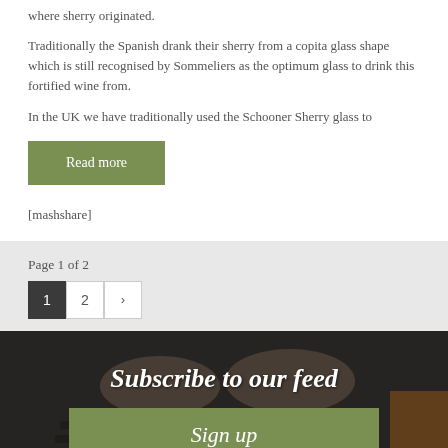where sherry originated.
Traditionally the Spanish drank their sherry from a copita glass shape which is still recognised by Sommeliers as the optimum glass to drink this fortified wine from.
In the UK we have traditionally used the Schooner Sherry glass to
Read more
[mashshare]
Page 1 of 2
1  2  >
Subscribe to our feed
Sign up